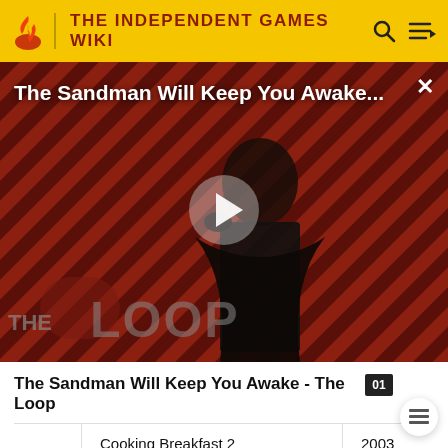THE INDEPENDENT GAMES WIKI
[Figure (screenshot): Video thumbnail for 'The Sandman Will Keep You Awake...' showing a figure in black against a striped red/dark background with THE LOOP logo and a play button overlay]
The Sandman Will Keep You Awake - The Loop
|  | Title | Year |
| --- | --- | --- |
|  | Cooking Breakfast 2 | 2003 |
|  | Crash Test Dummies | 2007 |
|  | Crash Test Dummies 2: Smash And Crash | 2009 |